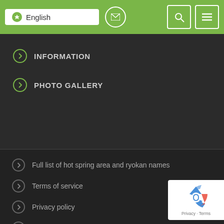English
INFORMATION
PHOTO GALLERY
Full list of hot spring area and ryokan names
Terms of service
Privacy policy
About us
Inquires about our website
Links
Other useful websites
How to use SEARCH FOR A RYOKAN
Three types of hot spring baths at an onsen ryokan
[Figure (logo): reCAPTCHA badge with recycling arrow logo, Privacy and Terms text]